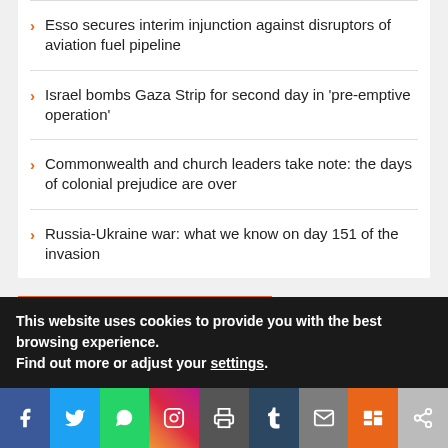Esso secures interim injunction against disruptors of aviation fuel pipeline
Israel bombs Gaza Strip for second day in 'pre-emptive operation'
Commonwealth and church leaders take note: the days of colonial prejudice are over
Russia-Ukraine war: what we know on day 151 of the invasion
SUBSCRIBE TO OUR NEWSLETTER
Want to be notified when our article is published? Enter your email address and name below to be the first to know.
This website uses cookies to provide you with the best browsing experience.
Find out more or adjust your settings.